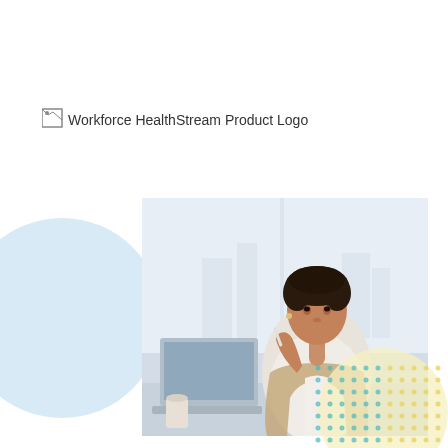[Figure (logo): Workforce HealthStream Product Logo — broken image placeholder with alt text]
[Figure (photo): A professional woman in a white blouse and tan cardigan sits at a desk looking at a laptop screen, holding a pen thoughtfully. Office background with large windows and city view. Decorative light blue circle on the left, yellow circle and teal/yellow dot grid pattern in the bottom right corner.]